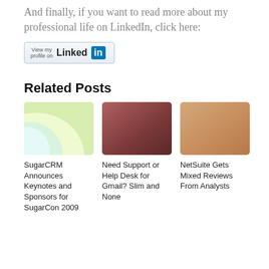And finally, if you want to read more about my professional life on LinkedIn, click here:
[Figure (other): LinkedIn 'View my profile on' button with blue 'in' logo]
Related Posts
[Figure (photo): Thumbnail image with light green and white curved shapes on yellow-green background]
SugarCRM Announces Keynotes and Sponsors for SugarCon 2009
[Figure (photo): Thumbnail image with dark brownish-red gradient]
Need Support or Help Desk for Gmail? Slim and None
[Figure (photo): Thumbnail image with warm copper/sandy gradient]
NetSuite Gets Mixed Reviews From Analysts